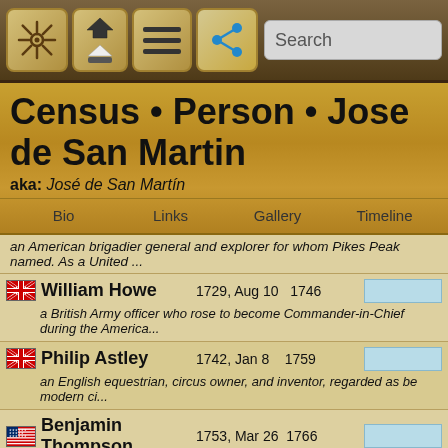[Figure (screenshot): Mobile app toolbar with navigation icons: ship wheel, home/up arrows, hamburger menu, share icon, and search bar]
Census • Person • Jose de San Martin
aka: José de San Martín
Bio   Links   Gallery   Timeline
an American brigadier general and explorer for whom Pikes Peak named. As a United ...
William Howe  1729, Aug 10  1746  a British Army officer who rose to become Commander-in-Chief during the America...
Philip Astley  1742, Jan 8  1759  an English equestrian, circus owner, and inventor, regarded as be modern ci...
Benjamin Thompson  1753, Mar 26  1766  an American-born British physicist and inventor whose challenge physical theory w...
Dominique You  1775  1802